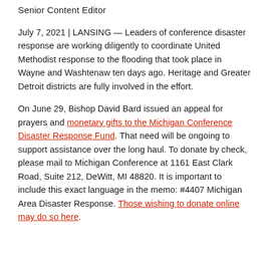Senior Content Editor
July 7, 2021 | LANSING — Leaders of conference disaster response are working diligently to coordinate United Methodist response to the flooding that took place in Wayne and Washtenaw ten days ago. Heritage and Greater Detroit districts are fully involved in the effort.
On June 29, Bishop David Bard issued an appeal for prayers and monetary gifts to the Michigan Conference Disaster Response Fund. That need will be ongoing to support assistance over the long haul. To donate by check, please mail to Michigan Conference at 1161 East Clark Road, Suite 212, DeWitt, MI 48820. It is important to include this exact language in the memo: #4407 Michigan Area Disaster Response. Those wishing to donate online may do so here.